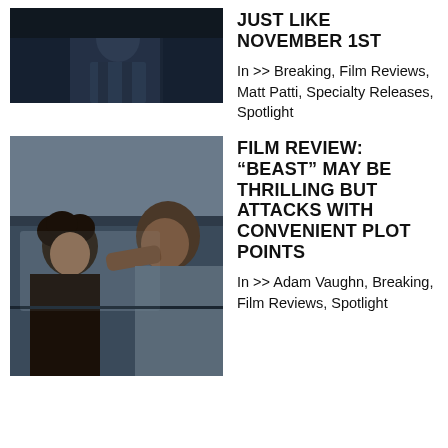[Figure (photo): Dark moody photo of a man in a suit, partially obscured, dark blue tones]
JUST LIKE NOVEMBER 1ST
In >> Breaking, Film Reviews, Matt Patti, Specialty Releases, Spotlight
[Figure (photo): Two people inside a car, one reaching toward the other through a window, dramatic scene]
FILM REVIEW: “BEAST” MAY BE THRILLING BUT ATTACKS WITH CONVENIENT PLOT POINTS
In >> Adam Vaughn, Breaking, Film Reviews, Spotlight